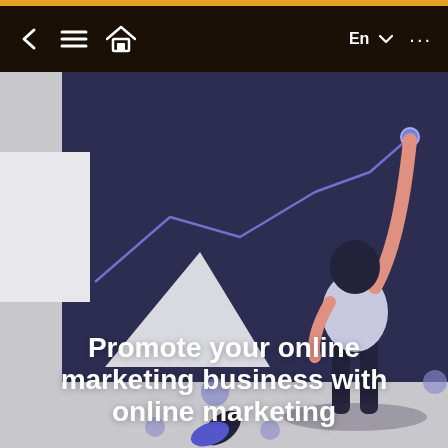< ≡ 🏠   En ▼  ...
[Figure (illustration): A figure of a person standing and drawing a line chart on a dark blue board, with decorative elements including dots and leaves on a grey background, with bold white text overlay]
Promote your online marketing business with online marketing